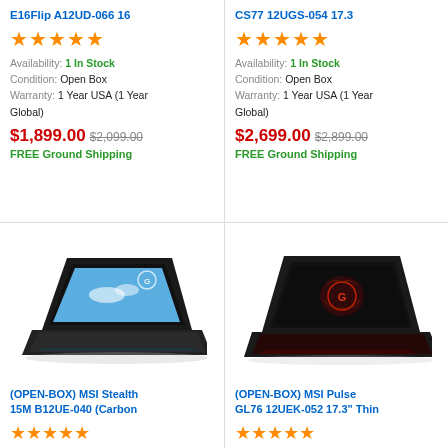E16Flip A12UD-066 16
CS77 12UGS-054 17.3
★★★★★
★★★★★
Availability: 1 In Stock
Condition: Open Box
Warranty: 1 Year USA (1 Year Global)
Availability: 1 In Stock
Condition: Open Box
Warranty: 1 Year USA (1 Year Global)
$1,899.00 $2,099.00
FREE Ground Shipping
$2,699.00 $2,899.00
FREE Ground Shipping
[Figure (photo): MSI Stealth 15M B12UE-040 Carbon Black laptop open at angle showing blue sky wallpaper on screen]
[Figure (photo): MSI Pulse GL76 12UEK-052 black gaming laptop open at angle showing red dragon logo on screen]
(OPEN-BOX) MSI Stealth 15M B12UE-040 (Carbon
(OPEN-BOX) MSI Pulse GL76 12UEK-052 17.3" Thin
★★★★★
★★★★★